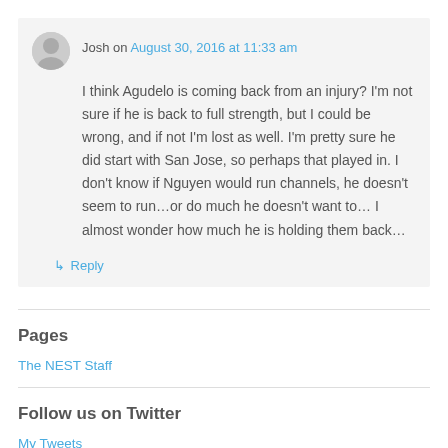Josh on August 30, 2016 at 11:33 am
I think Agudelo is coming back from an injury? I'm not sure if he is back to full strength, but I could be wrong, and if not I'm lost as well. I'm pretty sure he did start with San Jose, so perhaps that played in. I don't know if Nguyen would run channels, he doesn't seem to run…or do much he doesn't want to… I almost wonder how much he is holding them back…
↳ Reply
Pages
The NEST Staff
Follow us on Twitter
My Tweets